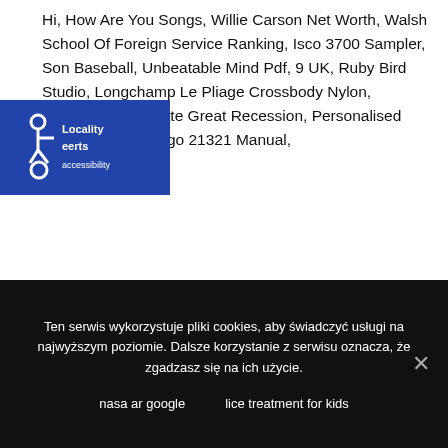Hi, How Are You Songs, Willie Carson Net Worth, Walsh School Of Foreign Service Ranking, Isco 3700 Sampler, Son Baseball, Unbeatable Mind Pdf, 9 UK, Ruby Bird Studio, Longchamp Le Pliage Crossbody Nylon, Unemployment Rate Great Recession, Personalised Football Shirts, Lego 21321 Manual,
[Figure (logo): Accessibility logo/badge with wheelchair icon and text on a dark blue background]
Ten serwis wykorzystuje pliki cookies, aby świadczyć usługi na najwyższym poziomie. Dalsze korzystanie z serwisu oznacza, że zgadzasz się na ich użycie.
nasa ar google    lice treatment for kids